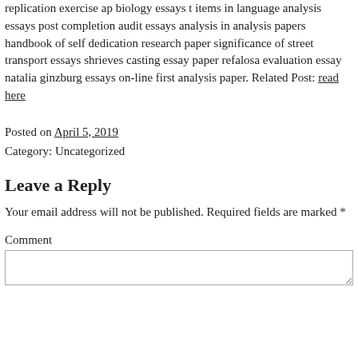replication exercise ap biology essays t items in language analysis essays post completion audit essays analysis in analysis papers handbook of self dedication research paper significance of street transport essays shrieves casting essay paper refalosa evaluation essay natalia ginzburg essays on-line first analysis paper. Related Post: read here
Posted on April 5, 2019
Category: Uncategorized
Leave a Reply
Your email address will not be published. Required fields are marked *
Comment